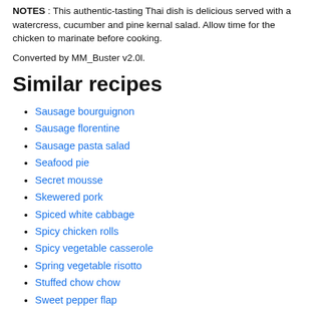NOTES : This authentic-tasting Thai dish is delicious served with a watercress, cucumber and pine kernal salad. Allow time for the chicken to marinate before cooking.
Converted by MM_Buster v2.0l.
Similar recipes
Sausage bourguignon
Sausage florentine
Sausage pasta salad
Seafood pie
Secret mousse
Skewered pork
Spiced white cabbage
Spicy chicken rolls
Spicy vegetable casserole
Spring vegetable risotto
Stuffed chow chow
Sweet pepper flap